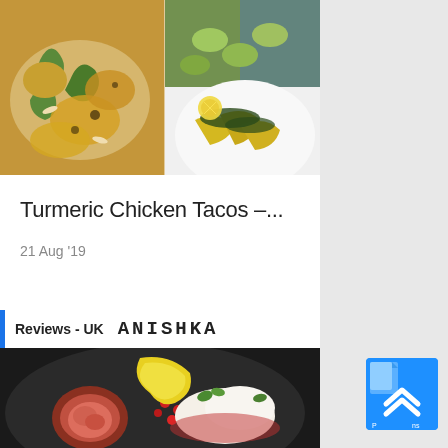[Figure (photo): Collage of two food photos: left shows turmeric-coated chicken with green peppers and sliced almonds on a plate; right top shows cucumber and vegetable dish, right bottom shows yellow turmeric chicken strips with dark greens on a white plate with lemon slices]
Turmeric Chicken Tacos –...
21 Aug '19
Reviews - UK
ANISHKA
[Figure (photo): Close-up of a dark bowl containing halved figs, pomegranate seeds, a yellow curved element (possibly a banana or petal), and white cream or ice cream with mint garnish on a dark plate]
[Figure (other): Scroll-to-top button with double chevron up arrows in blue, with partial text visible at the bottom]